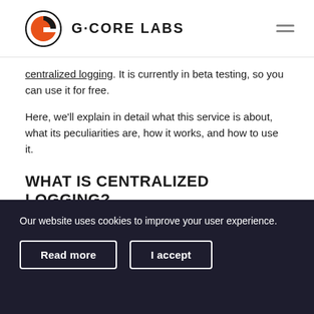G-CORE LABS
centralized logging. It is currently in beta testing, so you can use it for free.
Here, we'll explain in detail what this service is about, what its peculiarities are, how it works, and how to use it.
WHAT IS CENTRALIZED LOGGING?
Centralized logging is a service for collecting, storing, and analyzing logs. It allows collecting logs from many different services into a single repository.
Thanks to this service, you can easily analyze data from various sources, making it possible to monitor the
Our website uses cookies to improve your user experience.